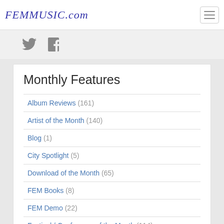FEMMUSIC.com
[Figure (logo): Twitter and Facebook social media icons in gray]
Monthly Features
Album Reviews (161)
Artist of the Month (140)
Blog (1)
City Spotlight (5)
Download of the Month (65)
FEM Books (8)
FEM Demo (22)
Festival / Conference of the Month (114)
Film of the Month (101)